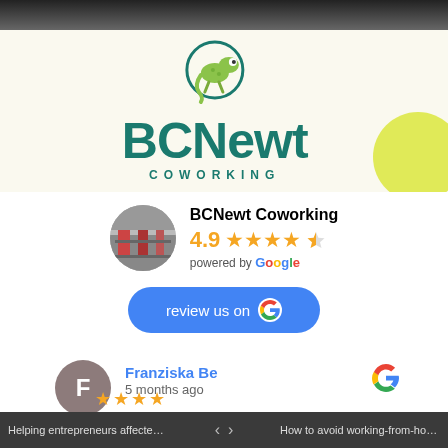[Figure (photo): Dark photo strip at the top of the page, partial image of people]
[Figure (logo): BCNewt Coworking logo on cream/beige background with green chameleon icon and teal BCNewt text with COWORKING subtitle, yellow circle decoration on right]
BCNewt Coworking
4.9 ★★★★½ powered by Google
review us on G
Franziska Be
5 months ago
Helping entrepreneurs affected by t... < > How to avoid working-from-home bu...